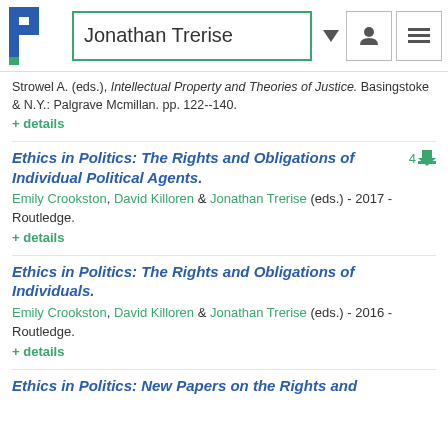Jonathan Trerise
Strowel A. (eds.), Intellectual Property and Theories of Justice. Basingstoke & N.Y.: Palgrave Mcmillan. pp. 122--140.
+ details
Ethics in Politics: The Rights and Obligations of Individual Political Agents.
Emily Crookston, David Killoren & Jonathan Trerise (eds.) - 2017 - Routledge.
+ details
Ethics in Politics: The Rights and Obligations of Individuals.
Emily Crookston, David Killoren & Jonathan Trerise (eds.) - 2016 - Routledge.
+ details
Ethics in Politics: New Papers on the Rights and